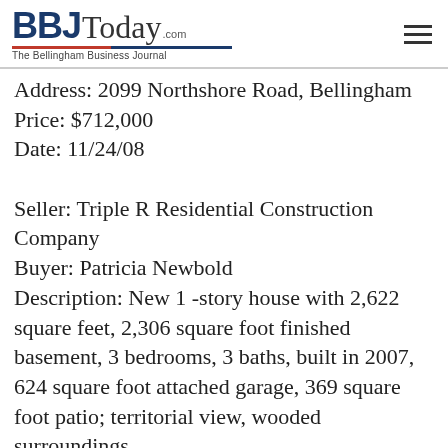BBJToday.com — The Bellingham Business Journal
Address: 2099 Northshore Road, Bellingham
Price: $712,000
Date: 11/24/08

Seller: Triple R Residential Construction Company
Buyer: Patricia Newbold
Description: New 1 -story house with 2,622 square feet, 2,306 square foot finished basement, 3 bedrooms, 3 baths, built in 2007, 624 square foot attached garage, 369 square foot patio; territorial view, wooded surroundings